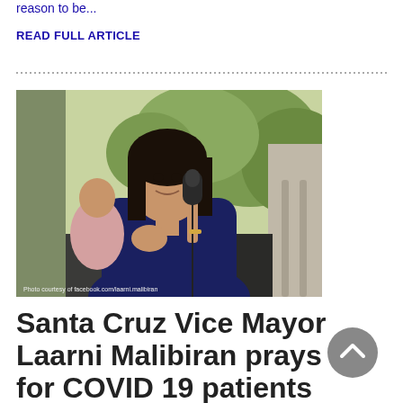reason to be...
READ FULL ARTICLE
[Figure (photo): Woman in navy blue jacket speaking into a microphone, outdoors with green trees in the background. Photo courtesy of facebook.com/laarni.malibiran]
Santa Cruz Vice Mayor Laarni Malibiran prays for COVID 19 patients in town